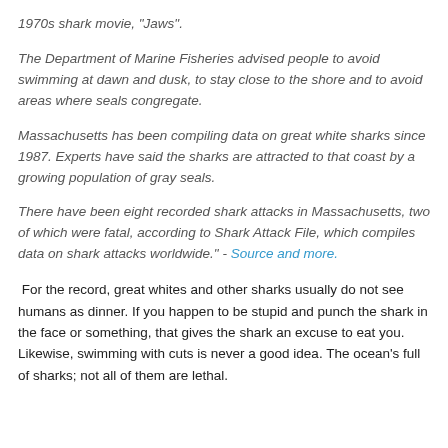1970s shark movie, "Jaws".
The Department of Marine Fisheries advised people to avoid swimming at dawn and dusk, to stay close to the shore and to avoid areas where seals congregate.
Massachusetts has been compiling data on great white sharks since 1987. Experts have said the sharks are attracted to that coast by a growing population of gray seals.
There have been eight recorded shark attacks in Massachusetts, two of which were fatal, according to Shark Attack File, which compiles data on shark attacks worldwide." - Source and more.
For the record, great whites and other sharks usually do not see humans as dinner. If you happen to be stupid and punch the shark in the face or something, that gives the shark an excuse to eat you. Likewise, swimming with cuts is never a good idea. The ocean's full of sharks; not all of them are lethal.